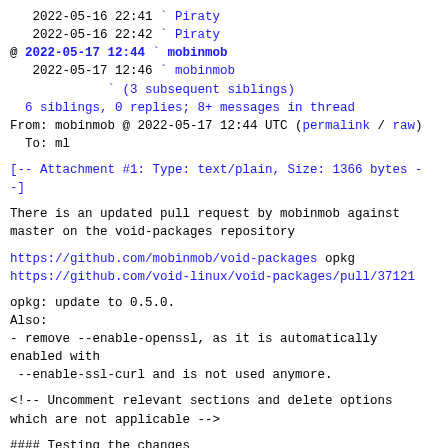2022-05-16 22:41 ` Piraty
   2022-05-16 22:42 ` Piraty
@ 2022-05-17 12:44 ` mobinmob
   2022-05-17 12:46 ` mobinmob
             ` (3 subsequent siblings)
   6 siblings, 0 replies; 8+ messages in thread
From: mobinmob @ 2022-05-17 12:44 UTC (permalink / raw)
  To: ml
[-- Attachment #1: Type: text/plain, Size: 1366 bytes --]
There is an updated pull request by mobinmob against
master on the void-packages repository
https://github.com/mobinmob/void-packages opkg
https://github.com/void-linux/void-packages/pull/37121
opkg: update to 0.5.0.
Also:
- remove --enable-openssl, as it is automatically
enabled with
 --enable-ssl-curl and is not used anymore.
<!-- Uncomment relevant sections and delete options
which are not applicable -->
#### Testing the changes
- I tested the changes in this PR: **briefly**